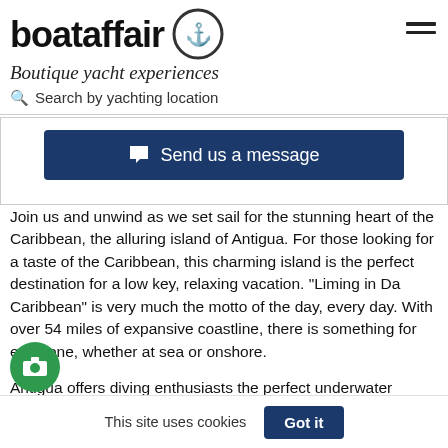boataffair — Boutique yacht experiences — Search by yachting location
[Figure (logo): Boataffair logo with circular emblem containing an anchor symbol]
Send us a message
Join us and unwind as we set sail for the stunning heart of the Caribbean, the alluring island of Antigua. For those looking for a taste of the Caribbean, this charming island is the perfect destination for a low key, relaxing vacation. "Liming in Da Caribbean" is very much the motto of the day, every day. With over 54 miles of expansive coastline, there is something for everyone, whether at sea or onshore.
Antigua offers diving enthusiasts the perfect underwater haven to explore its coral reefs and marine life, including endangered Hawksbill sea turtle. Whilst the seductive
This site uses cookies